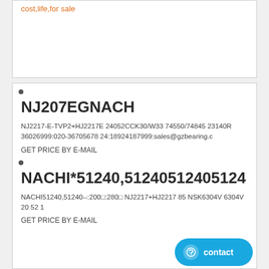cost,life,for sale
NJ207EGNACH
NJ2217-E-TVP2+HJ2217E 24052CCK30/W33 74550/74845 23140R 36026999:020-36705678 24:18924187999:sales@gzbearing.c
GET PRICE BY E-MAIL
NACHI*51240,51240512405124
NACHI51240,51240--:200□:280□ NJ2217+HJ2217 85 NSK6304V 6304V 20 52 1
GET PRICE BY E-MAIL